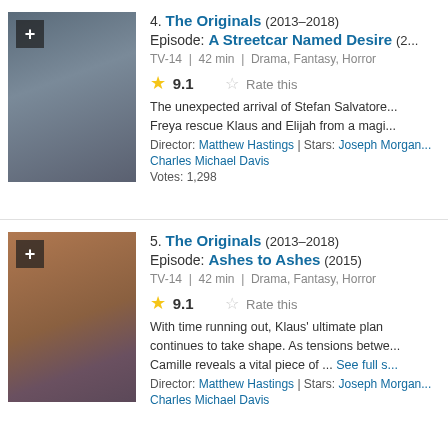[Figure (photo): Scene from The Originals showing a male character in black jacket shaking hands on a city street]
4. The Originals (2013–2018)
Episode: A Streetcar Named Desire (2...
TV-14 | 42 min | Drama, Fantasy, Horror
9.1 Rate this
The unexpected arrival of Stefan Salvatore... Freya rescue Klaus and Elijah from a magi...
Director: Matthew Hastings | Stars: Joseph Morgan... Charles Michael Davis
Votes: 1,298
[Figure (photo): Scene from The Originals showing two young women walking outdoors]
5. The Originals (2013–2018)
Episode: Ashes to Ashes (2015)
TV-14 | 42 min | Drama, Fantasy, Horror
9.1 Rate this
With time running out, Klaus' ultimate plan continues to take shape. As tensions betwe... Camille reveals a vital piece of ... See full s...
Director: Matthew Hastings | Stars: Joseph Morgan... Charles Michael Davis